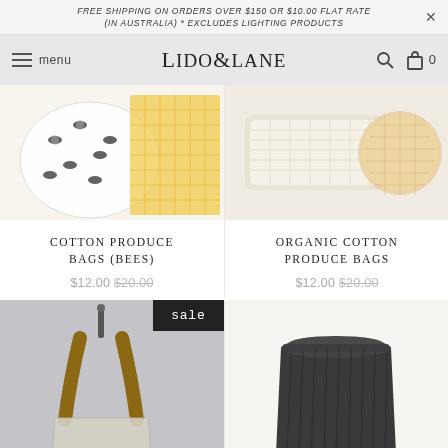FREE SHIPPING ON ORDERS OVER $150 OR $10.00 FLAT RATE (IN AUSTRALIA) * EXCLUDES LIGHTING PRODUCTS
LIDO & LANE — menu, search, cart (0)
[Figure (photo): Cotton produce bags with bee print pattern on fabric, yellow honeycomb texture]
[Figure (photo): Organic cotton produce bags rolled up, natural mesh bags]
COTTON PRODUCE BAGS (BEES) $12.00 $20.00
ORGANIC COTTON PRODUCE BAGS $12.00 $20.00
[Figure (photo): Woven market bag hanging on a hook on a grey wall, sale badge]
[Figure (photo): Dark grey ribbed reusable cup with lid]